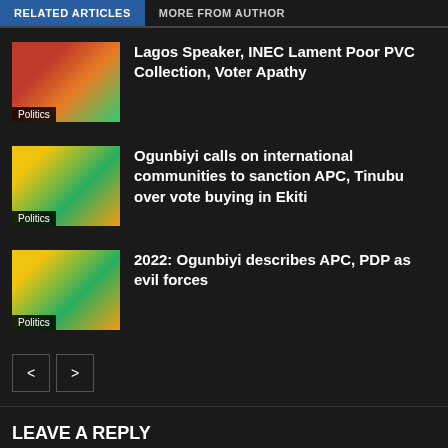RELATED ARTICLES | MORE FROM AUTHOR
Lagos Speaker, INEC Lament Poor PVC Collection, Voter Apathy
Politics
Ogunbiyi calls on international communities to sanction APC, Tinubu over vote buying in Ekiti
Politics
2022: Ogunbiyi describes APC, PDP as evil forces
Politics
LEAVE A REPLY